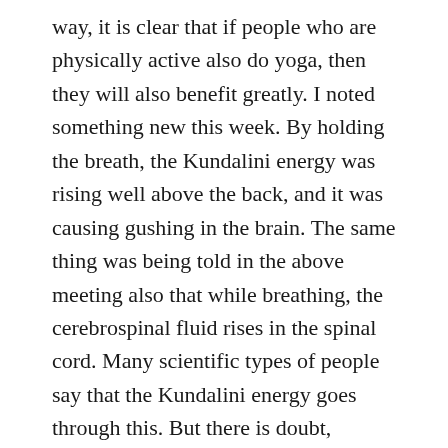way, it is clear that if people who are physically active also do yoga, then they will also benefit greatly. I noted something new this week. By holding the breath, the Kundalini energy was rising well above the back, and it was causing gushing in the brain. The same thing was being told in the above meeting also that while breathing, the cerebrospinal fluid rises in the spinal cord. Many scientific types of people say that the Kundalini energy goes through this. But there is doubt, because the kundalani energy rises all of a sudden, but the CSF moves slowly. Maybe when it reaches the brain, it is only then that there is a feeling of ascending energy. That is why only after doing breathing or other yoga exercises for some time does the energy feel like rising, not all of a sudden. That is why it is said to do yoga by holding the breath. However, probably for this, a long practice of doing yoga while breathing is